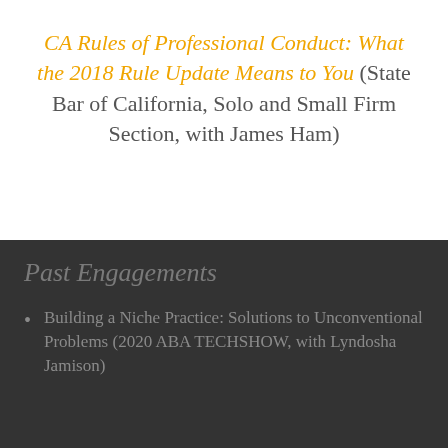CA Rules of Professional Conduct: What the 2018 Rule Update Means to You (State Bar of California, Solo and Small Firm Section, with James Ham)
Past Engagements
Building a Niche Practice: Solutions to Unconventional Problems (2020 ABA TECHSHOW, with Lyndosha Jamison)